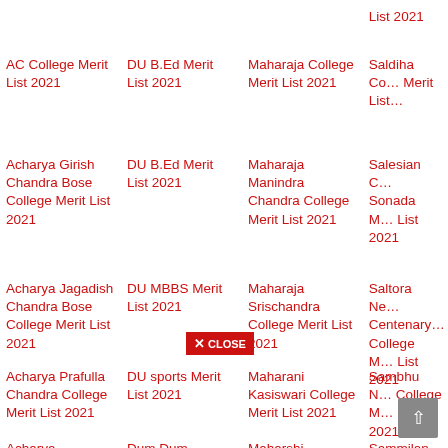List 2021
AC College Merit List 2021
DU B.Ed Merit List 2021
Maharaja College Merit List 2021
Saldiha College Merit List
Acharya Girish Chandra Bose College Merit List 2021
DU B.Ed Merit List 2021
Maharaja Manindra Chandra College Merit List 2021
Salesian College Sonada Merit List 2021
Acharya Jagadish Chandra Bose College Merit List 2021
DU MBBS Merit List 2021
Maharaja Srischandra College Merit List 2021
Saltora Netaji Centenary College Merit List 2021
Acharya Prafulla Chandra College Merit List 2021
DU sports Merit List 2021
Maharani Kasiswari College Merit List 2021
Sambhu Nath College Merit List 2021
Acharya
Dum Dum
Maharshi
Sammilan